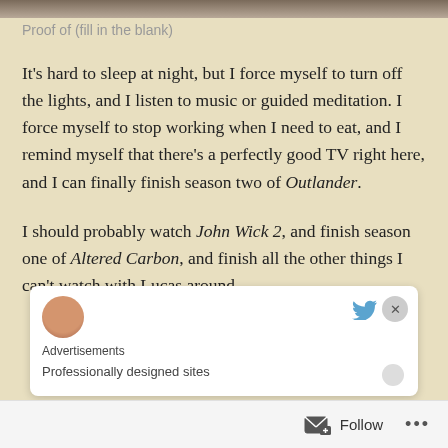[Figure (photo): Top image strip, partially visible at top of page]
Proof of (fill in the blank)
It’s hard to sleep at night, but I force myself to turn off the lights, and I listen to music or guided meditation. I force myself to stop working when I need to eat, and I remind myself that there’s a perfectly good TV right here, and I can finally finish season two of Outlander.
I should probably watch John Wick 2, and finish season one of Altered Carbon, and finish all the other things I can’t watch with Lucas around.
[Figure (screenshot): Advertisement overlay panel with avatar, Twitter bird icon, close button, 'Advertisements' label, and 'Professionally designed sites' text]
Follow ...